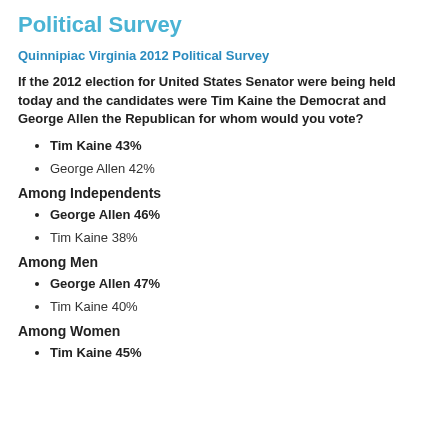Political Survey
Quinnipiac Virginia 2012 Political Survey
If the 2012 election for United States Senator were being held today and the candidates were Tim Kaine the Democrat and George Allen the Republican for whom would you vote?
Tim Kaine 43%
George Allen 42%
Among Independents
George Allen 46%
Tim Kaine 38%
Among Men
George Allen 47%
Tim Kaine 40%
Among Women
Tim Kaine 45%